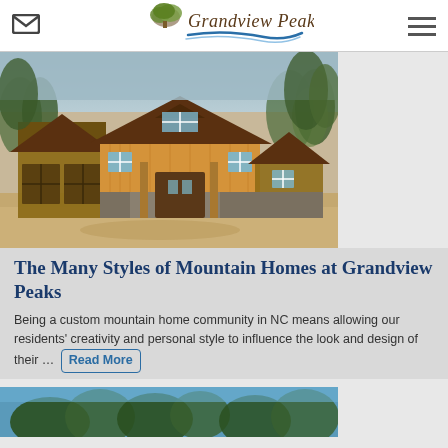Grandview Peaks
[Figure (photo): Exterior photo of a large craftsman-style mountain home with brown siding, stone accents, dark roof, multiple gables, and attached garage, surrounded by trees.]
The Many Styles of Mountain Homes at Grandview Peaks
Being a custom mountain home community in NC means allowing our residents' creativity and personal style to influence the look and design of their … Read More
[Figure (photo): Partial photo of another mountain home partially obscured, showing tree tops and a roofline against a blue sky.]